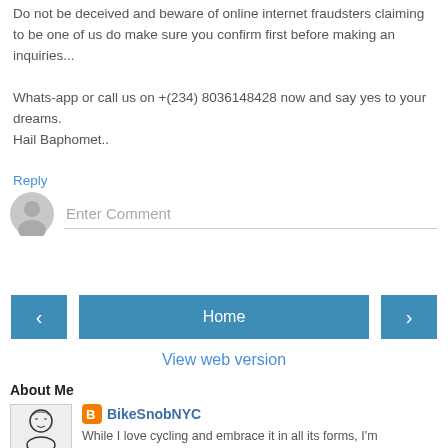Do not be deceived and beware of online internet fraudsters claiming to be one of us do make sure you confirm first before making an inquiries...

Whats-app or call us on +(234) 8036148428 now and say yes to your dreams.
Hail Baphomet..
Reply
[Figure (screenshot): Comment input field with user avatar placeholder on the left and 'Enter Comment' text field on the right]
[Figure (screenshot): Navigation row with left arrow button, Home button, and right arrow button]
View web version
About Me
[Figure (illustration): Author portrait illustration — BikeSnobNYC blogger avatar]
BikeSnobNYC
While I love cycling and embrace it in all its forms, I'm